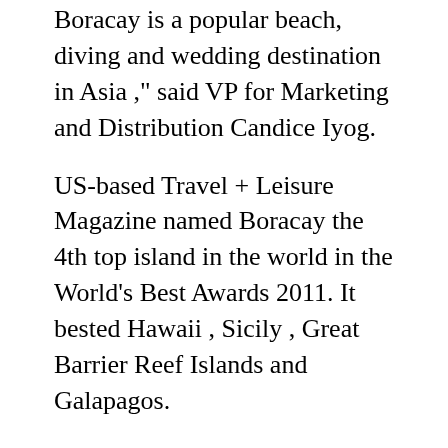Boracay is a popular beach, diving and wedding destination in Asia ," said VP for Marketing and Distribution Candice Iyog.
US-based Travel + Leisure Magazine named Boracay the 4th top island in the world in the World's Best Awards 2011. It bested Hawaii , Sicily , Great Barrier Reef Islands and Galapagos.
Cebu Pacific currently operates 10 Airbus A319, 19 Airbus A320 and 8 ATR-72 500 aircraft. By the end of 2011, CEB will be operating a fleet of 37 aircraft – with an average age of 3.6 years – one of the most modern aircraft fleets